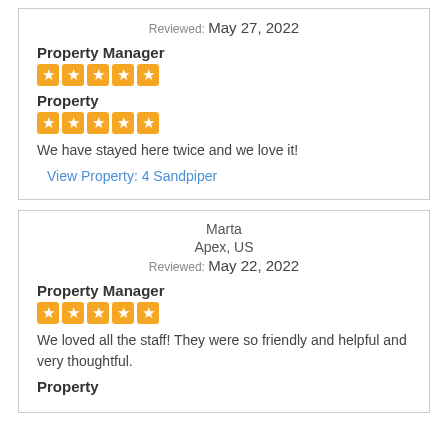Reviewed: May 27, 2022
Property Manager
[Figure (other): 5 orange star rating icons]
Property
[Figure (other): 5 orange star rating icons]
We have stayed here twice and we love it!
View Property: 4 Sandpiper
Marta
Apex, US
Reviewed: May 22, 2022
Property Manager
[Figure (other): 5 orange star rating icons]
We loved all the staff! They were so friendly and helpful and very thoughtful.
Property